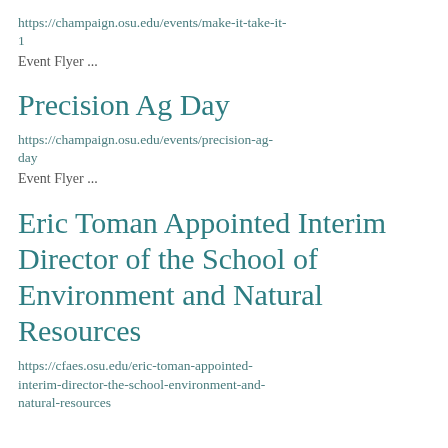https://champaign.osu.edu/events/make-it-take-it-1
Event Flyer ...
Precision Ag Day
https://champaign.osu.edu/events/precision-ag-day
Event Flyer ...
Eric Toman Appointed Interim Director of the School of Environment and Natural Resources
https://cfaes.osu.edu/eric-toman-appointed-interim-director-the-school-environment-and-natural-resources